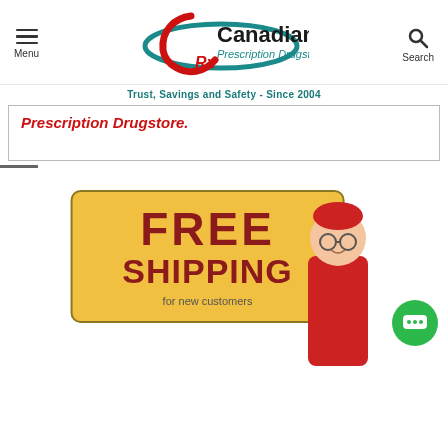[Figure (logo): Canadian Prescription Drugstore logo with teal ellipse and red stylized letter C with Rx]
Menu
Search
Trust, Savings and Safety - Since 2004
Prescription Drugstore.
[Figure (infographic): Free Shipping for new customers promotional banner on golden yellow card, with illustrated person holding the card and green chat bubble icon]